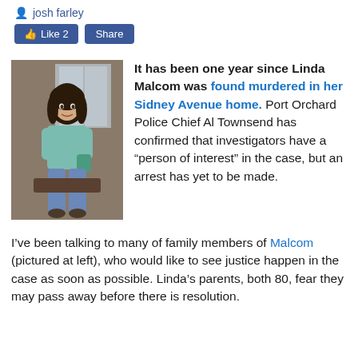josh farley
[Figure (screenshot): Facebook-style Like and Share buttons]
[Figure (photo): Photo of Linda Malcom, a woman with dark hair sitting indoors]
It has been one year since Linda Malcom was found murdered in her Sidney Avenue home. Port Orchard Police Chief Al Townsend has confirmed that investigators have a “person of interest” in the case, but an arrest has yet to be made.
I’ve been talking to many of family members of Malcom (pictured at left), who would like to see justice happen in the case as soon as possible. Linda’s parents, both 80, fear they may pass away before there is resolution.